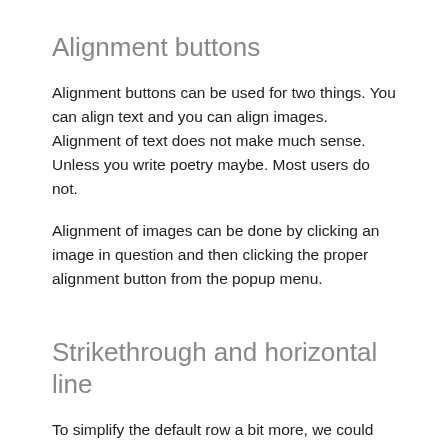Alignment buttons
Alignment buttons can be used for two things. You can align text and you can align images. Alignment of text does not make much sense. Unless you write poetry maybe. Most users do not.
Alignment of images can be done by clicking an image in question and then clicking the proper alignment button from the popup menu.
Strikethrough and horizontal line
To simplify the default row a bit more, we could move the strikethrough and horizontal line buttons to the second row. Those buttons can be useful, but not most of the time.